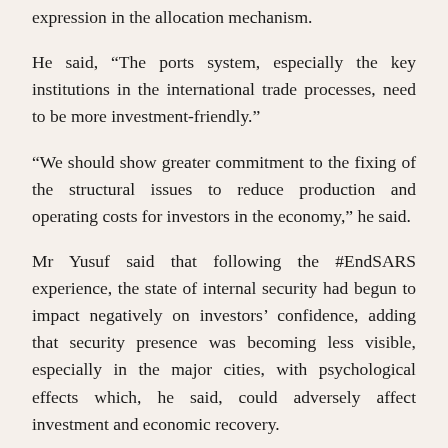expression in the allocation mechanism.
He said, “The ports system, especially the key institutions in the international trade processes, need to be more investment-friendly.”
“We should show greater commitment to the fixing of the structural issues to reduce production and operating costs for investors in the economy,” he said.
Mr Yusuf said that following the #EndSARS experience, the state of internal security had begun to impact negatively on investors’ confidence, adding that security presence was becoming less visible, especially in the major cities, with psychological effects which, he said, could adversely affect investment and economic recovery.
“We appreciate the setback suffered by the police as a result of the recent protests and we empathize with